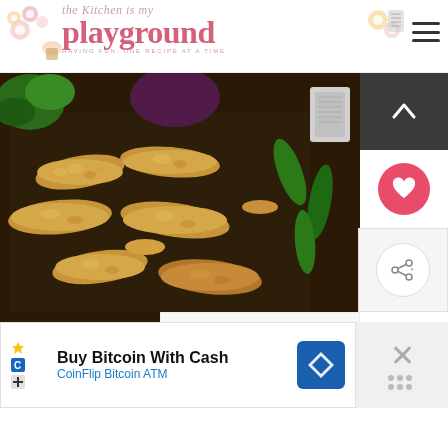the kitchen is my playground — HAVING FUN, ONE RECIPE AT A TIME
Place the filled jalapeno poppers on a baking sheet and bake at 375° until they're golden-brown.
[Figure (photo): Baked jalapeño poppers coated in breadcrumbs on a dark baking sheet, with fresh jalapeños and herbs in the background]
[Figure (photo): Thumbnail image for 'What's Next' — Pineapple-Ham Tortilla...]
WHAT'S NEXT → Pineapple-Ham Tortilla...
Buy Bitcoin With Cash — CoinFlip Bitcoin ATM